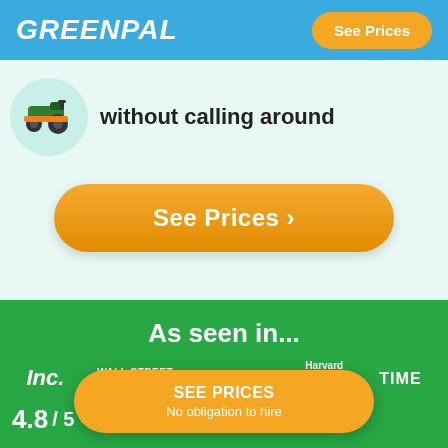[Figure (logo): GreenPal logo in white italic bold text on blue navigation bar]
See Prices
[Figure (illustration): Lawn mower illustration inside a teal circular background]
without calling around
See Prices >
As seen in...
Inc.
WALL STREET JOURNAL
Forbes
Harvard Business Review
TIME
SEE PRICES
No obligation to hire
4.8 / 5   515,365 reviews   pilot